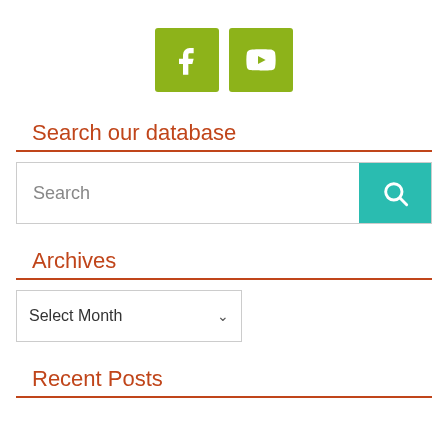[Figure (infographic): Two olive/yellow-green square icon buttons: a Facebook icon (f) and a YouTube icon (play button), centered horizontally.]
Search our database
[Figure (screenshot): Search bar with text 'Search' placeholder and a teal/turquoise search button with a magnifying glass icon on the right.]
Archives
[Figure (screenshot): Dropdown selector showing 'Select Month' with a downward chevron arrow.]
Recent Posts